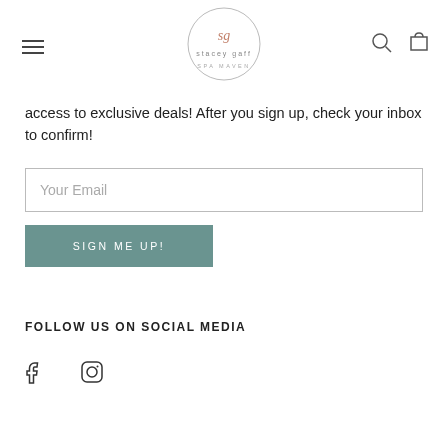stacey gaff SPA MAVEN - navigation header with hamburger menu, logo, search and cart icons
access to exclusive deals! After you sign up, check your inbox to confirm!
[Figure (other): Email input field with placeholder text 'Your Email']
[Figure (other): SIGN ME UP! button in teal/sage green color]
FOLLOW US ON SOCIAL MEDIA
[Figure (other): Facebook and Instagram social media icons]